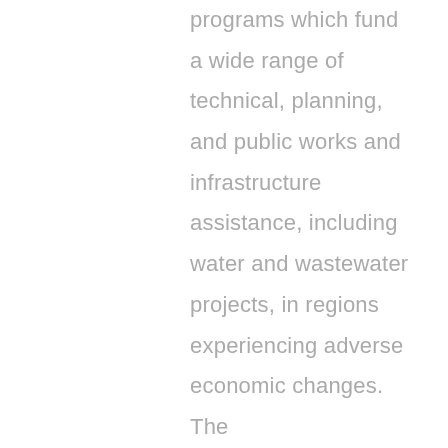programs which fund a wide range of technical, planning, and public works and infrastructure assistance, including water and wastewater projects, in regions experiencing adverse economic changes. The